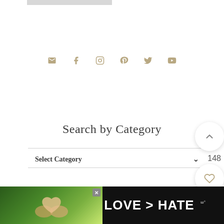[Figure (screenshot): Light gray horizontal bar at top of page]
[Figure (infographic): Row of social media icons: email, facebook, instagram, pinterest, twitter, youtube in tan/gold color]
Search by Category
Select Category
[Figure (infographic): Three floating action buttons on right side: up-arrow button, heart button with count 148, and gold search/magnifier button]
[Figure (screenshot): Advertisement banner at bottom: dark background with hands making heart shape photo on left, text LOVE > HATE in white, and Merriam-Webster logo on right]